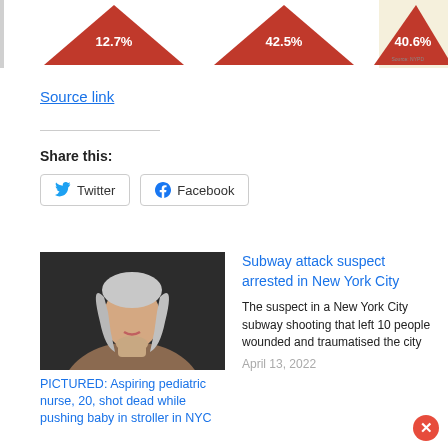[Figure (infographic): Three red triangles showing percentages: 12.7%, 42.5%, 40.6% with a source attribution. Third triangle has a yellow/cream background highlight.]
Source link
Share this:
Twitter
Facebook
[Figure (photo): Photo of a young woman with silver/grey wavy hair]
PICTURED: Aspiring pediatric nurse, 20, shot dead while pushing baby in stroller in NYC
Subway attack suspect arrested in New York City
The suspect in a New York City subway shooting that left 10 people wounded and traumatised the city
April 13, 2022